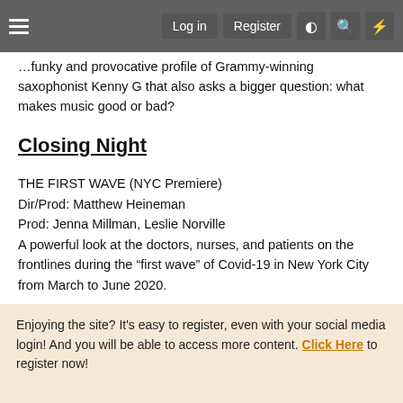Log in  Register
...funky and provocative profile of Grammy-winning saxophonist Kenny G that also asks a bigger question: what makes music good or bad?
Closing Night
THE FIRST WAVE (NYC Premiere)
Dir/Prod: Matthew Heineman
Prod: Jenna Millman, Leslie Norville
A powerful look at the doctors, nurses, and patients on the frontlines during the “first wave” of Covid-19 in New York City from March to June 2020.
Centerpiece Screenings
Enjoying the site? It's easy to register, even with your social media login! And you will be able to access more content. Click Here to register now!